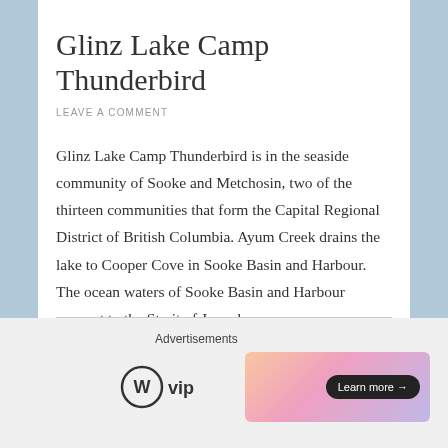Glinz Lake Camp Thunderbird
LEAVE A COMMENT
Glinz Lake Camp Thunderbird is in the seaside community of Sooke and Metchosin, two of the thirteen communities that form the Capital Regional District of British Columbia. Ayum Creek drains the lake to Cooper Cove in Sooke Basin and Harbour. The ocean waters of Sooke Basin and Harbour connect to the Strait of Juan de … Continue reading
[Figure (logo): WordPress VIP logo (W circle + 'vip' text) and an advertisement banner with gradient background and 'Learn more →' button]
Advertisements